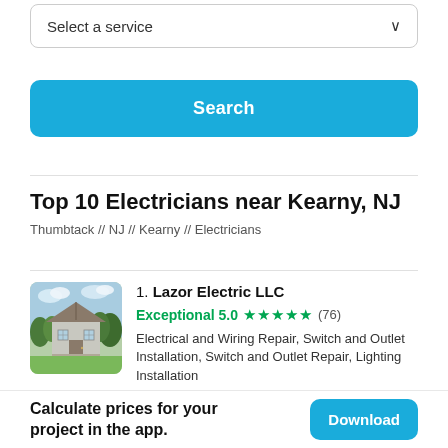[Figure (screenshot): Dropdown selector labeled 'Select a service' with a chevron arrow on the right]
[Figure (screenshot): Blue Search button]
Top 10 Electricians near Kearny, NJ
Thumbtack // NJ // Kearny // Electricians
[Figure (photo): Photo of a large house with trees and green lawn]
1. Lazor Electric LLC
Exceptional 5.0 ★★★★★ (76)
Electrical and Wiring Repair, Switch and Outlet Installation, Switch and Outlet Repair, Lighting Installation
Calculate prices for your project in the app.
[Figure (screenshot): Blue Download button]